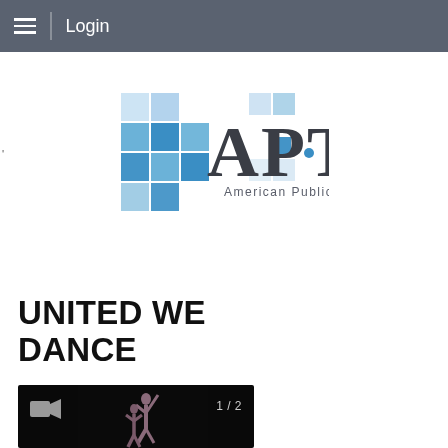Login
[Figure (logo): APT American Public Television logo with blue square mosaic pattern and large APT text]
UNITED WE DANCE
[Figure (screenshot): Video thumbnail showing dancers in dark background with video camera icon and 1/2 counter]